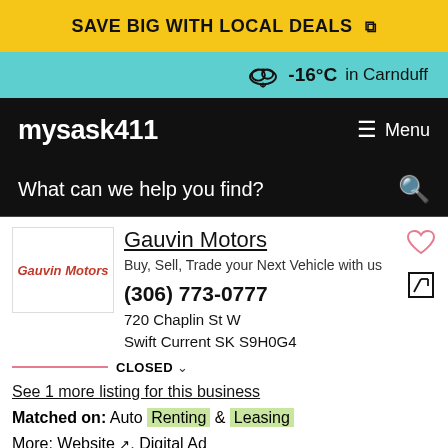SAVE BIG WITH LOCAL DEALS
-16°C in Carnduff
mysask411   Menu
What can we help you find?
Gauvin Motors
Buy, Sell, Trade your Next Vehicle with us
(306) 773-0777
720 Chaplin St W
Swift Current SK S9H0G4
CLOSED
See 1 more listing for this business
Matched on: Auto Renting & Leasing
More: Website, Digital Ad